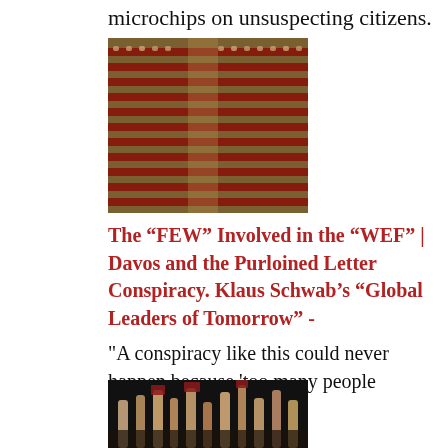microchips on unsuspecting citizens.
[Figure (photo): Aerial view of a large lecture hall or auditorium filled with people seated in rows with red seats]
The “FEW” Involved in the “WEF” | Davos and the Purloined Letter Conspiracy. Klaus Schwab’s “Global Leaders of Tomorrow” -
"A conspiracy like this could never happen because 'too many people would be involved'." ...
[Figure (photo): Crowd of people raising their hands and books/papers in a darkened setting]